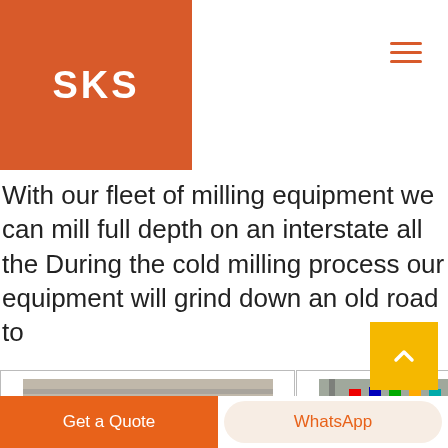SKS
With our fleet of milling equipment we can mill full depth on an interstate all the During the cold milling process our equipment will grind down an old road to
[Figure (photo): Industrial milling machinery in a large warehouse/factory floor with blue and yellow floor markings]
[Figure (photo): Industrial conveyor/bridge structure with colorful flags in an indoor arena or industrial facility]
[Figure (photo): Close-up of vehicle steering wheel and dashboard interior]
Get a Quote
WhatsApp